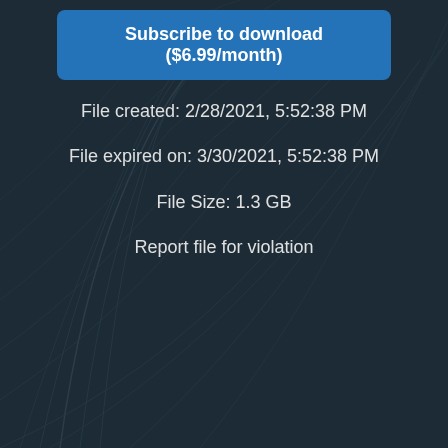Subscribe to download ($6.99/month)
File created: 2/28/2021, 5:52:38 PM
File expired on: 3/30/2021, 5:52:38 PM
File Size: 1.3 GB
Report file for violation